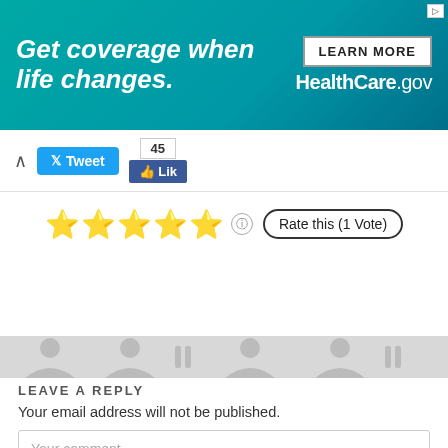[Figure (screenshot): HealthCare.gov advertisement banner: 'Get coverage when life changes.' with LEARN MORE button and HealthCare.gov logo on teal background]
[Figure (screenshot): Social sharing bar with collapse arrow, Twitter Tweet button, Facebook Like button showing count of 45]
[Figure (infographic): Five star rating showing 5 yellow stars, info icon, and 'Rate this (1 Vote)' button]
Human Misery, Life, Paradox, Self Talk, Soul Searching, Spirituality
epiphany, hatred, Religion, wars
LEAVE A REPLY
Your email address will not be published.
Your comment...